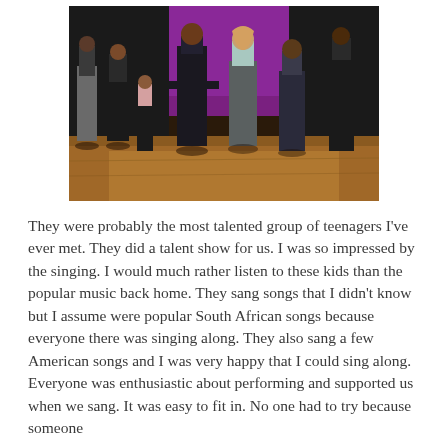[Figure (photo): Group of teenagers standing on a stage, some in dark clothing, in a performance or talent show setting. Warm stage lighting visible on the floor.]
They were probably the most talented group of teenagers I've ever met. They did a talent show for us. I was so impressed by the singing. I would much rather listen to these kids than the popular music back home. They sang songs that I didn't know but I assume were popular South African songs because everyone there was singing along. They also sang a few American songs and I was very happy that I could sing along. Everyone was enthusiastic about performing and supported us when we sang. It was easy to fit in. No one had to try because someone